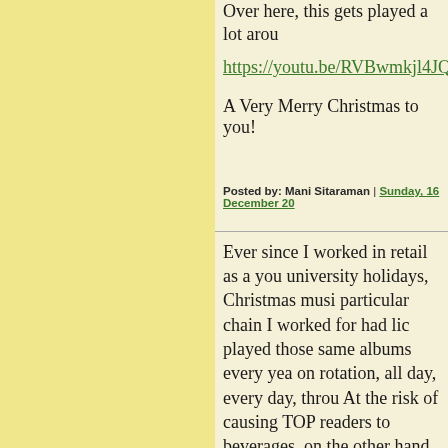Over here, this gets played a lot arou
https://youtu.be/RVBwmkjl4JQ
A Very Merry Christmas to you!
Posted by: Mani Sitaraman | Sunday, 16 December 20
Ever since I worked in retail as a you university holidays, Christmas musi particular chain I worked for had lic played those same albums every yea on rotation, all day, every day, throu At the risk of causing TOP readers to beverages, on the other hand, my wi Carey's Merry Christmas album. At album upon select occasions, and I c
Posted by: Not THAT Ross Cameron | Sunday, 16 Dec